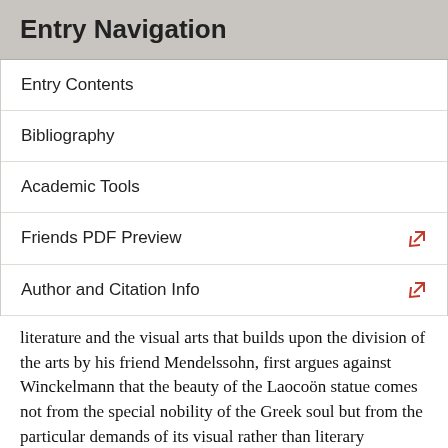Entry Navigation
Entry Contents
Bibliography
Academic Tools
Friends PDF Preview
Author and Citation Info
literature and the visual arts that builds upon the division of the arts by his friend Mendelssohn, first argues against Winckelmann that the beauty of the Laocoön statue comes not from the special nobility of the Greek soul but from the particular demands of its visual rather than literary medium.
Lessing published his Laocoön at the midpoint of his varied literary and intellectual career. Lessing, like Mendelssohn born in 1729, was the oldest of thirteen children of a Saxon pastor, and at twelve he entered the monastic school at Meissen; at seventeen he went to